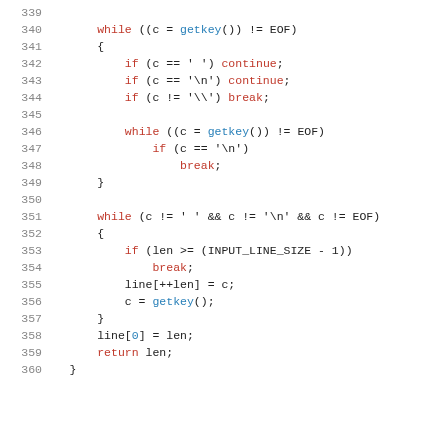[Figure (screenshot): Source code listing showing lines 339-360 of a C program with syntax highlighting. Keywords and control flow in red, function calls in blue, plain code in dark/black.]